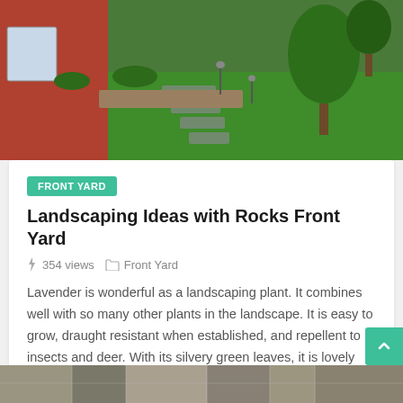[Figure (photo): Landscaped front yard with brick house, stepping stone path, green lawn and ornamental lamp posts]
FRONT YARD
Landscaping Ideas with Rocks Front Yard
⚡ 354 views  🗂 Front Yard
Lavender is wonderful as a landscaping plant. It combines well with so many other plants in the landscape. It is easy to grow, draught resistant when established, and repellent to insects and deer. With its silvery green leaves, it is lovely even when it is not in bloom. As an...
[Figure (photo): Partial view of a stone/rock landscaping feature at the bottom of the page]